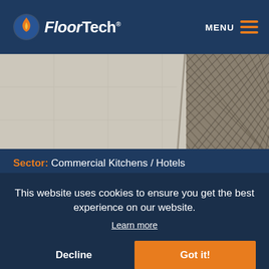[Figure (logo): FloorTech logo with flame icon on dark navy header, MENU and hamburger icon on right]
[Figure (photo): Close-up photo of commercial kitchen/hotel flooring showing textured grey tile and metal grating]
Sector: Commercial Kitchens / Hotels
The...
Sustainable Long-Term Flooring Solution For Hotel Kitchen
Clean, hygienic, and safe ... ution for Georgian period hotel & spa.
This website uses cookies to ensure you get the best experience on our website. Learn more
Decline
Got it!